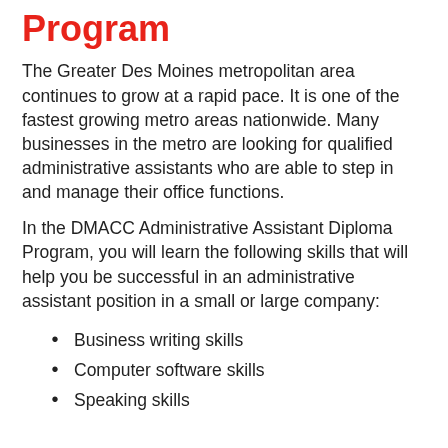Program
The Greater Des Moines metropolitan area continues to grow at a rapid pace. It is one of the fastest growing metro areas nationwide. Many businesses in the metro are looking for qualified administrative assistants who are able to step in and manage their office functions.
In the DMACC Administrative Assistant Diploma Program, you will learn the following skills that will help you be successful in an administrative assistant position in a small or large company:
Business writing skills
Computer software skills
Speaking skills